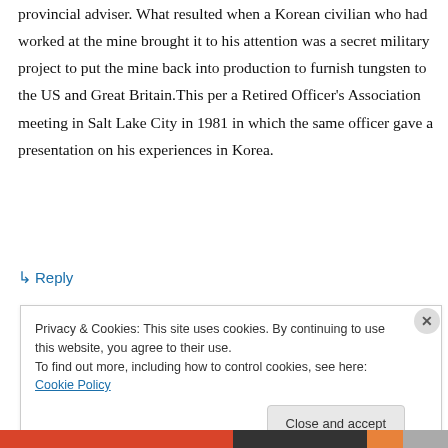provincial adviser. What resulted when a Korean civilian who had worked at the mine brought it to his attention was a secret military project to put the mine back into production to furnish tungsten to the US and Great Britain.This per a Retired Officer's Association meeting in Salt Lake City in 1981 in which the same officer gave a presentation on his experiences in Korea.
↳ Reply
Privacy & Cookies: This site uses cookies. By continuing to use this website, you agree to their use.
To find out more, including how to control cookies, see here: Cookie Policy
Close and accept